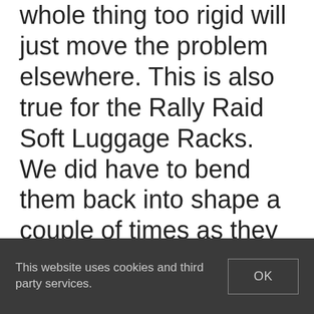whole thing too rigid will just move the problem elsewhere. This is also true for the Rally Raid Soft Luggage Racks. We did have to bend them back into shape a couple of times as they do get bent in falls. The plastic deformation of the rack absorbs a lot of the energy of the fall. If they were more rigid, the weld seams might be breaking or the bike frame be damaged, as you said. It's
This website uses cookies and third party services.